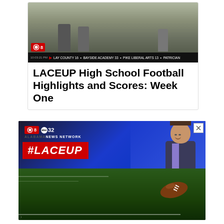[Figure (screenshot): Screenshot of a CBS8 TV broadcast showing high school football game footage with a score ticker at the bottom reading scores including LAY COUNTY 16, BAYSIDE ACADEMY 33, PIKE LIBERAL ARTS 13, PATRICIAN]
LACEUP High School Football Highlights and Scores: Week One
[Figure (photo): Advertisement banner for CBS8 ABC32 Alabama News Network #LACEUP high school football coverage, featuring anchor photo, #LACEUP red logo text, and a football on a grass field]